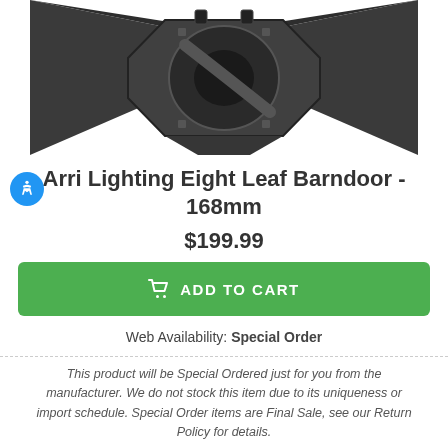[Figure (photo): Product photo of Arri Lighting Eight Leaf Barndoor - black metal barndoor accessory with eight leaves/flaps arranged around a central octagonal mount, viewed from above on white background]
Arri Lighting Eight Leaf Barndoor - 168mm
$199.99
ADD TO CART
Web Availability: Special Order
This product will be Special Ordered just for you from the manufacturer. We do not stock this item due to its uniqueness or import schedule. Special Order items are Final Sale, see our Return Policy for details.